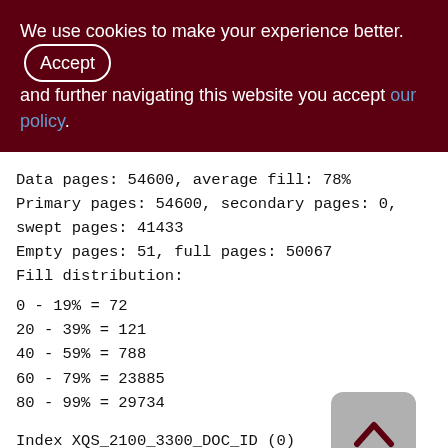We use cookies to make your experience better. By accepting and further navigating this website you accept our policy.
Data pages: 54600, average fill: 78%
Primary pages: 54600, secondary pages: 0, swept pages: 41433
Empty pages: 51, full pages: 50067
Fill distribution:
0 - 19% = 72
20 - 39% = 121
40 - 59% = 788
60 - 79% = 23885
80 - 99% = 29734

Index XQS_2100_3300_DOC_ID (0)
Root pages: 30055, depth: 0, leaf buckets: